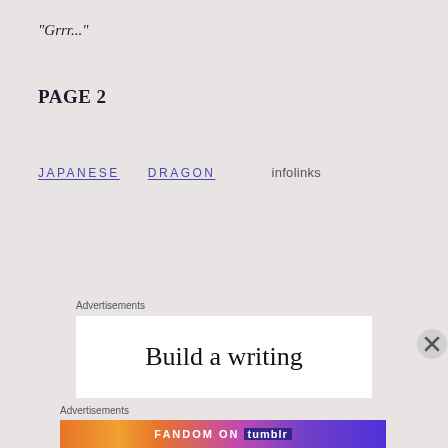“Grrr...”
PAGE 2
JAPANESE   DRAGON   infolinks
Advertisements
[Figure (screenshot): White ad box with large serif text 'Build a writing']
Advertisements
[Figure (screenshot): Fandom on Tumblr colorful banner advertisement with gradient background in orange, pink, and purple]